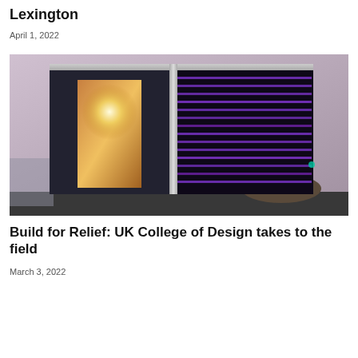Lexington
April 1, 2022
[Figure (photo): A modern outdoor pod/cabin structure with glass sliding door on the left showing warm interior lighting, and a dark panel with purple LED horizontal stripes on the right side, photographed at dusk against a concrete wall]
Build for Relief: UK College of Design takes to the field
March 3, 2022